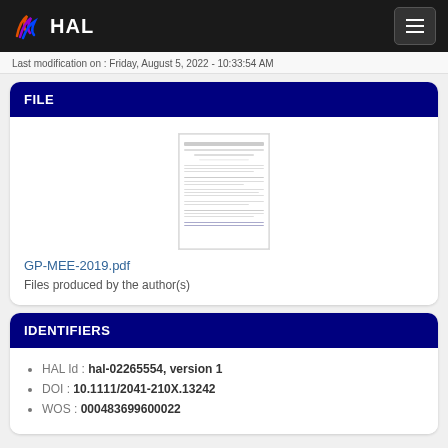HAL
Last modification on : Friday, August 5, 2022 - 10:33:54 AM
FILE
[Figure (other): Thumbnail of PDF document GP-MEE-2019.pdf]
GP-MEE-2019.pdf
Files produced by the author(s)
IDENTIFIERS
HAL Id : hal-02265554, version 1
DOI : 10.1111/2041-210X.13242
WOS : 000483699600022